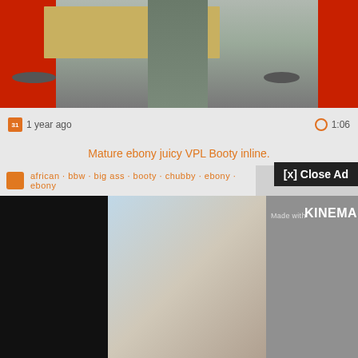[Figure (screenshot): Video thumbnail showing a person walking in a store with red shopping carts and cardboard boxes]
1 year ago
1:06
Mature ebony juicy VPL Booty inline.
[x] Close Ad
african · bbw · big ass · booty · chubby · ebony · ebony
[Figure (screenshot): Video thumbnail split into three panels: black left panel, blurry center image in blue/tan tones, and gray right panel with 'Made with KINEMA' text]